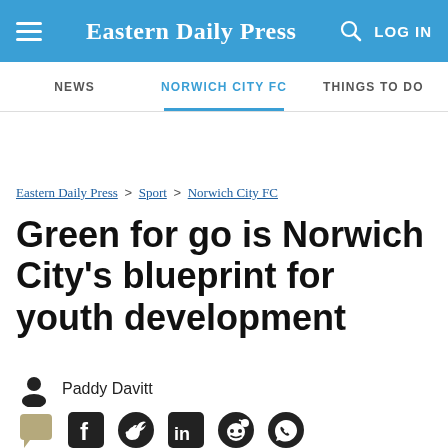Eastern Daily Press — NEWS | NORWICH CITY FC | THINGS TO DO
Eastern Daily Press > Sport > Norwich City FC
Green for go is Norwich City's blueprint for youth development
Paddy Davitt
[Figure (other): Social sharing icons: comment, Facebook, Twitter, LinkedIn, Reddit, WhatsApp]